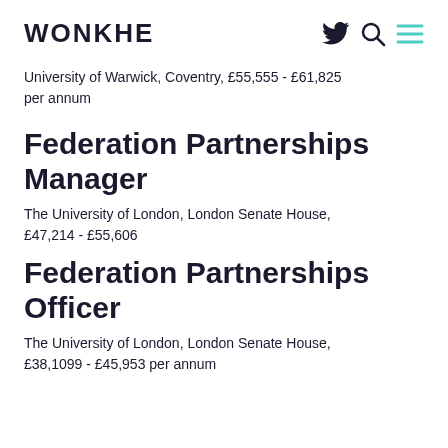WONKHE
University of Warwick, Coventry, £55,555 - £61,825 per annum
Federation Partnerships Manager
The University of London, London Senate House, £47,214 - £55,606
Federation Partnerships Officer
The University of London, London Senate House, £38,1099 - £45,953 per annum